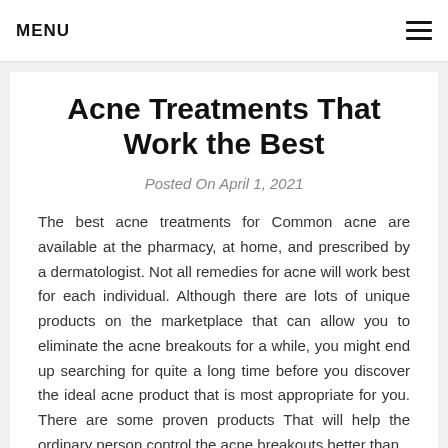MENU
Acne Treatments That Work the Best
Posted On April 1, 2021
The best acne treatments for Common acne are available at the pharmacy, at home, and prescribed by a dermatologist. Not all remedies for acne will work best for each individual. Although there are lots of unique products on the marketplace that can allow you to eliminate the acne breakouts for a while, you might end up searching for quite a long time before you discover the ideal acne product that is most appropriate for you. There are some proven products That will help the ordinary person control the acne breakouts better than